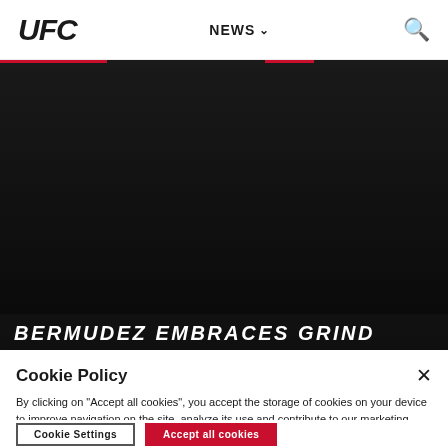UFC  NEWS  🔍
[Figure (photo): Dark hero image background for UFC article about Bermudez Embraces Grind]
BERMUDEZ EMBRACES GRIND
Cookie Policy
By clicking on "Accept all cookies", you accept the storage of cookies on your device to improve navigation on the site, analyze its use and contribute to our marketing efforts.